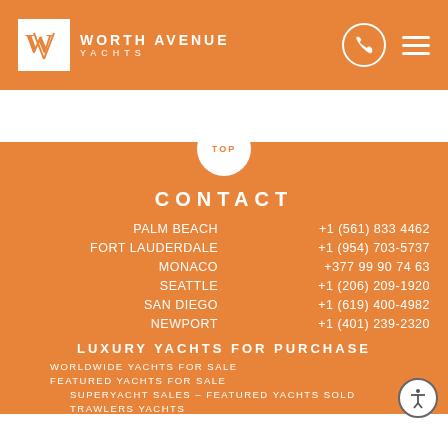Worth Avenue Yachts
TOP
CONTACT
| Location | Phone |
| --- | --- |
| PALM BEACH | +1 (561) 833 4462 |
| FORT LAUDERDALE | +1 (954) 703-5737 |
| MONACO | +377 99 90 74 63 |
| SEATTLE | +1 (206) 209-1920 |
| SAN DIEGO | +1 (619) 400-4982 |
| NEWPORT | +1 (401) 239-2320 |
LUXURY YACHTS FOR PURCHASE
WORLDWIDE YACHTS FOR SALE
FEATURED YACHTS FOR SALE
SUPERYACHT SALES – FEATURED YACHTS SOLD
TRAWLERS YACHTS